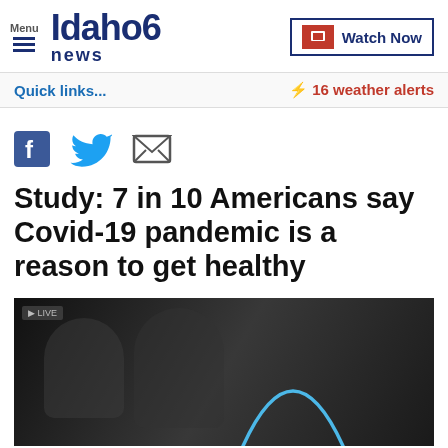Idaho News 6 — Menu | Watch Now
Quick links...
⚡ 16 weather alerts
[Figure (illustration): Social share icons: Facebook, Twitter, Email]
Study: 7 in 10 Americans say Covid-19 pandemic is a reason to get healthy
[Figure (photo): Dark background video thumbnail showing people with a blue arc graphic overlay]